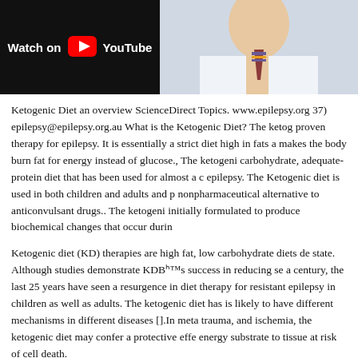[Figure (screenshot): YouTube video thumbnail with 'Watch on YouTube' label on black background, and a photo of a person in a white coat with a tie on the right side]
Ketogenic Diet an overview ScienceDirect Topics. www.epilepsy.org 37) epilepsy@epilepsy.org.au What is the Ketogenic Diet? The ketogenic diet is a proven therapy for epilepsy. It is essentially a strict diet high in fats a makes the body burn fat for energy instead of glucose., The ketogenic carbohydrate, adequate-protein diet that has been used for almost a century for epilepsy. The Ketogenic diet is used in both children and adults and provides a nonpharmaceutical alternative to anticonvulsant drugs.. The ketogenic diet was initially formulated to produce biochemical changes that occur during fasting.
Ketogenic diet (KD) therapies are high fat, low carbohydrate diets designed to induce a ketotic state. Although studies demonstrate KD’s success in reducing seizures for almost a century, the last 25 years have seen a resurgence in diet therapy for drug resistant epilepsy in children as well as adults. The ketogenic diet has mechanisms that is likely to have different mechanisms in different diseases [].In metabolic trauma, and ischemia, the ketogenic diet may confer a protective effect as an energy substrate to tissue at risk of cell death.